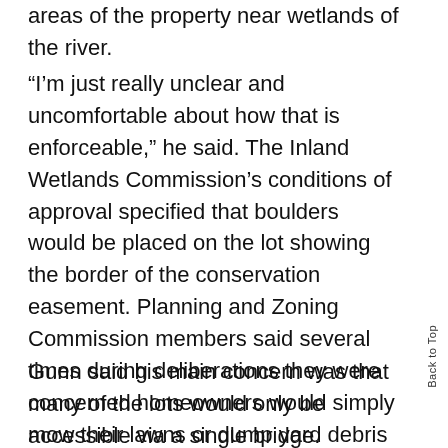areas of the property near wetlands of the river.
“I’m just really unclear and uncomfortable about how that is enforceable,” he said. The Inland Wetlands Commission’s conditions of approval specified that boulders would be placed on the lot showing the border of the conservation easement. Planning and Zoning Commission members said several times during deliberations they were concerned homeowners would simply mow their lawns or dump yard debris beyond the boulders.
Gunn said his main concern was that many of the lots would only be accessible via a single bridge.